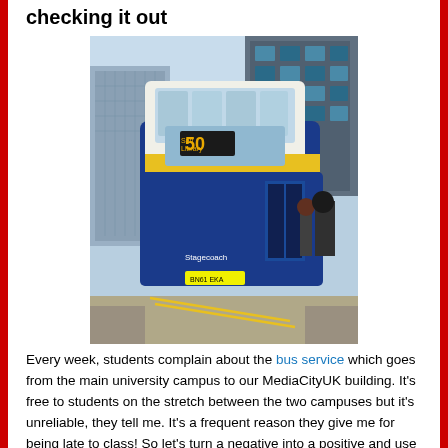checking it out
[Figure (photo): A Stagecoach double-decker bus (route 50) stopped at a street in an urban area near a modern glass building, with passengers boarding. Yellow double lines visible on the road.]
Every week, students complain about the bus service which goes from the main university campus to our MediaCityUK building. It's free to students on the stretch between the two campuses but it's unreliable, they tell me. It's a frequent reason they give me for being late to class! So let's turn a negative into a positive and use this as the basis for our